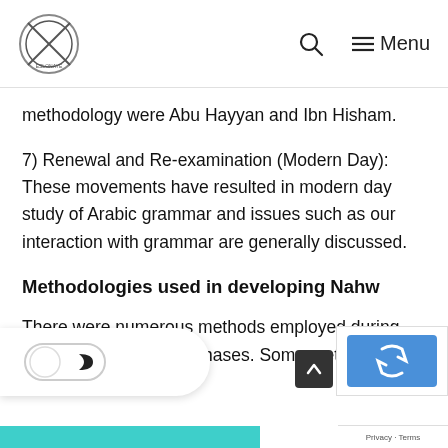ESLonAYE [logo] [search icon] Menu
methodology were Abu Hayyan and Ibn Hisham.
7) Renewal and Re-examination (Modern Day): These movements have resulted in modern day study of Arabic grammar and issues such as our interaction with grammar are generally discussed.
Methodologies used in developing Nahw
There were numerous methods employed during the aforementioned 7-phases. Some methods by which Arabic grammar...